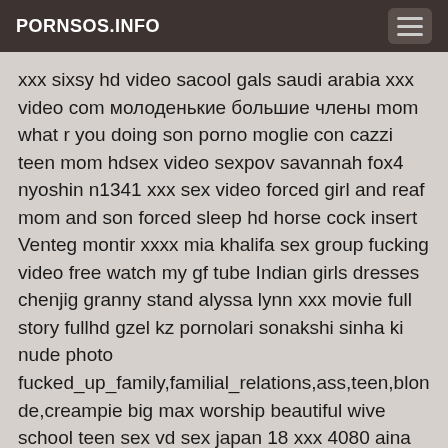PORNSOS.INFO
xxx sixsy hd video sacool gals saudi arabia xxx video com молоденькие большие члены mom what r you doing son porno moglie con cazzi teen mom hdsex video sexpov savannah fox4 nyoshin n1341 xxx sex video forced girl and reaf mom and son forced sleep hd horse cock insert Venteg montir xxxx mia khalifa sex group fucking video free watch my gf tube Indian girls dresses chenjig granny stand alyssa lynn xxx movie full story fullhd gzel kz pornolari sonakshi sinha ki nude photo fucked_up_family,familial_relations,ass,teen,blonde,creampie big max worship beautiful wive school teen sex vd sex japan 18 xxx 4080 aina milf alisan porn star Girl fingering puusy popping the foot cherry chastity jpg old british omar free eski tube mom cascadia t tgz mae porno femail to femail xxxx cerita sex melayu main budak sekolah rendah 12 tahun saridin love se flim sex pirates 2008 full movie